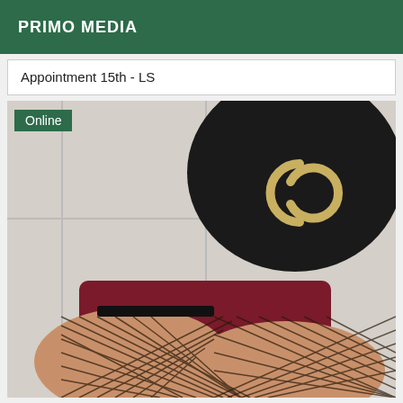PRIMO MEDIA
Appointment 15th - LS
[Figure (photo): Close-up photo of a person wearing fishnet stockings, a dark Chanel-logo bag, and a dark red/maroon skirt, seated against a light-colored paneled background. An 'Online' badge is overlaid in the upper left corner.]